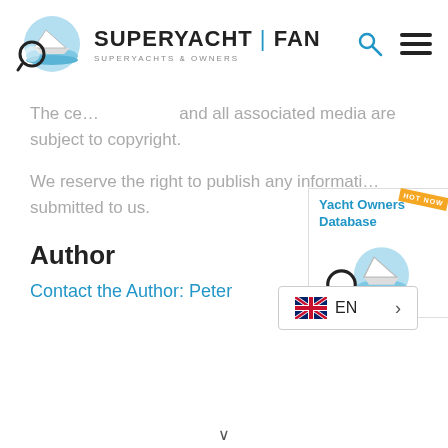[Figure (logo): SuperYacht Fan logo with magnifying glass over yacht and waves icon, and text SUPERYACHT|FAN SUPERYACHTS & OWNERS]
The ce... and all associated media are subject to copyright.
We reserve the right to publish any informati... submitted to us.
[Figure (other): Yacht Owners Database advertisement banner with HOT NOW badge and SuperYacht Fan logo icon]
Author
Contact the Author: Peter
[Figure (other): Language selector showing UK flag and EN with arrow]